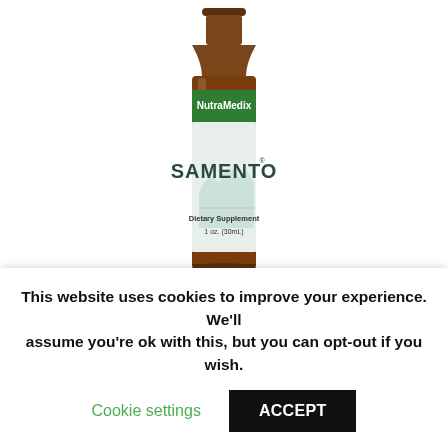[Figure (photo): NutraMedix Samento dietary supplement bottle, amber glass, 1 oz (30mL), with green branded label showing 'NutraMedix' and 'SAMENTO' text, on white background]
Samento 1 oz
This website uses cookies to improve your experience. We'll assume you're ok with this, but you can opt-out if you wish.
Cookie settings
ACCEPT